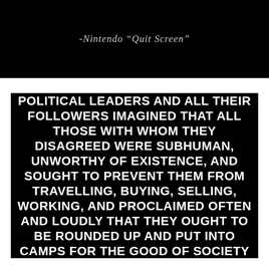[Figure (screenshot): Black background image with handwritten-style italic text: -Nintendo "Quit Screen"]
IMAGINE A NATION WHERE THE POLITICAL LEADERS AND ALL THEIR FOLLOWERS IMAGINED THAT ALL THOSE WITH WHOM THEY DISAGREED WERE SUBHUMAN, UNWORTHY OF EXISTENCE, AND SOUGHT TO PREVENT THEM FROM TRAVELLING, BUYING, SELLING, WORKING, AND PROCLAIMED OFTEN AND LOUDLY THAT THEY OUGHT TO BE ROUNDED UP AND PUT INTO CAMPS FOR THE GOOD OF SOCIETY AND THE HUMAN RACE.